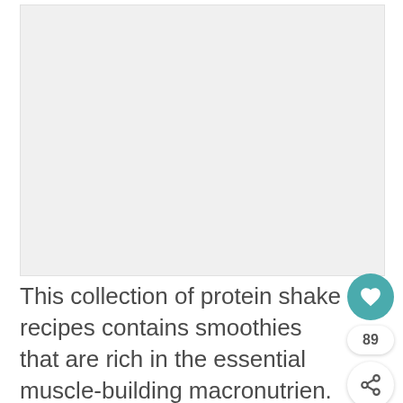[Figure (photo): Large light gray rectangular image placeholder area]
This collection of protein shake recipes contains smoothies that are rich in the essential muscle-building macronutrien. It also provides a selection flavorful and